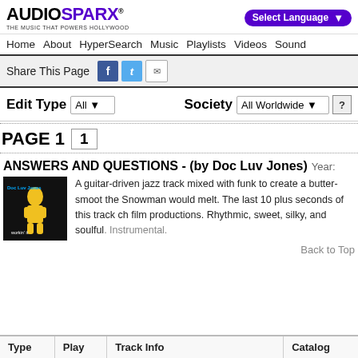AUDIOSPARX - THE MUSIC THAT POWERS HOLLYWOOD | Select Language
Home  About  HyperSearch  Music  Playlists  Videos  Sound
Share This Page
Edit Type All  Society All Worldwide  ?
PAGE 1  1
ANSWERS AND QUESTIONS - (by Doc Luv Jones) Year:
[Figure (photo): Album art for Doc Luv Jones 'workin it' with yellow figure on dark background]
A guitar-driven jazz track mixed with funk to create a butter-smooth the Snowman would melt. The last 10 plus seconds of this track ch film productions. Rhythmic, sweet, silky, and soulful. Instrumental.
Back to Top
| Type | Play | Track Info | Catalog |
| --- | --- | --- | --- |